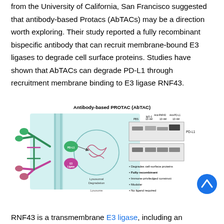from the University of California, San Francisco suggested that antibody-based Protacs (AbTACs) may be a direction worth exploring. Their study reported a fully recombinant bispecific antibody that can recruit membrane-bound E3 ligases to degrade cell surface proteins. Studies have shown that AbTACs can degrade PD-L1 through recruitment membrane binding to E3 ligase RNF43.
[Figure (illustration): Diagram of Antibody-based PROTAC (AbTAC) mechanism showing a bispecific antibody recruiting an E3 ligase (RNF43) to degrade PD-L1 via lysosomal degradation. Alongside a Western blot showing PD-L1 degradation under PBS, IgG-1 10nM, Anti-RNF43 10nM, Anti-PD-L1 10nM conditions. Bullet points list: Degrades cell-surface proteins, Fully recombinant, Immune-privileged construct, Modular, No ligand required.]
RNF43 is a transmembrane E3 ligase, including an